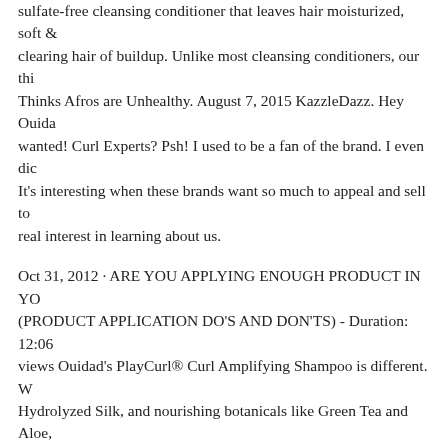sulfate-free cleansing conditioner that leaves hair moisturized, soft & clearing hair of buildup. Unlike most cleansing conditioners, our thi... Thinks Afros are Unhealthy. August 7, 2015 KazzleDazz. Hey Ouida... wanted! Curl Experts? Psh! I used to be a fan of the brand. I even dic... It's interesting when these brands want so much to appeal and sell to... real interest in learning about us.
Oct 31, 2012 · ARE YOU APPLYING ENOUGH PRODUCT IN YO... (PRODUCT APPLICATION DO'S AND DON'TS) - Duration: 12:06... views Ouidad's PlayCurl® Curl Amplifying Shampoo is different. W... Hydrolyzed Silk, and nourishing botanicals like Green Tea and Aloe,... curls while giving them a healthy boost of body-not stripping their m...
Ouidad Curl Immersion™ Co-Wash Cleansing Conditioner. Ouidad i... with one simple idea—let curls be curls. For over 30 years, the bran... customized approach for each curl type—loose, classic, tight, and ki... to deva, ana was $135. i don't know if other stylists are less. i would... you are not going to to often for a haircut, so i divide the cost by a ye... when i've gone to local places where i need to go every month. a goo... from 4 to 5 months. many people go every 6 months.